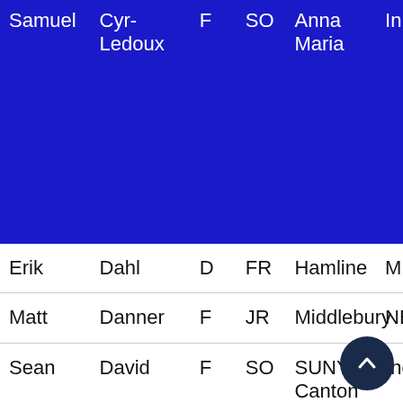| First | Last | Pos | Year | School | State |
| --- | --- | --- | --- | --- | --- |
| Samuel | Cyr-Ledoux | F | SO | Anna Maria | In... |
| Erik | Dahl | D | FR | Hamline | MN... |
| Matt | Danner | F | JR | Middlebury | NE... |
| Sean | David | F | SO | SUNY-Canton | Inc... |
| Daniel | Davidson | G | FR | UMass-Dartmouth | MA... |
| Connor | Davis | F | JR | Nazareth | UC... |
| Konnar | Dechaine | F | JR | UW-Stout | WI... |